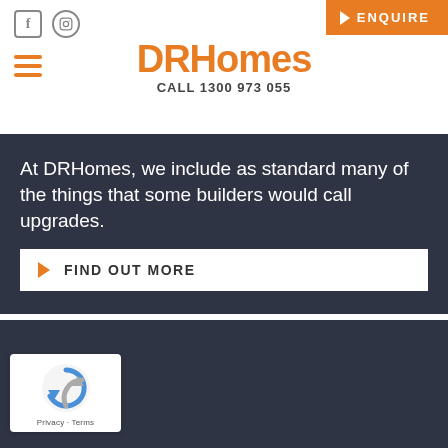DRHomes CALL 1300 973 055
At DRHomes, we include as standard many of the things that some builders would call upgrades.
FIND OUT MORE
[Figure (other): Dark section background area below the content]
[Figure (logo): reCAPTCHA logo badge with Privacy - Terms text]